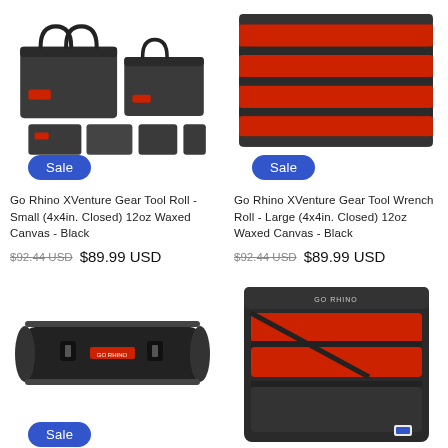[Figure (photo): Go Rhino XVenture Gear Tool Roll bag set - multiple black bags with red accents]
[Figure (photo): Go Rhino XVenture Gear Tool Wrench Roll unrolled showing red pockets - Large]
Go Rhino XVenture Gear Tool Roll - Small (4x4in. Closed) 12oz Waxed Canvas - Black
$92.44 USD  $89.99 USD
Go Rhino XVenture Gear Tool Wrench Roll - Large (4x4in. Closed) 12oz Waxed Canvas - Black
$92.44 USD  $89.99 USD
[Figure (photo): Go Rhino XVenture tool roll - closed/rolled up black with red logo]
[Figure (photo): Go Rhino XVenture tool case open showing red interior pockets]